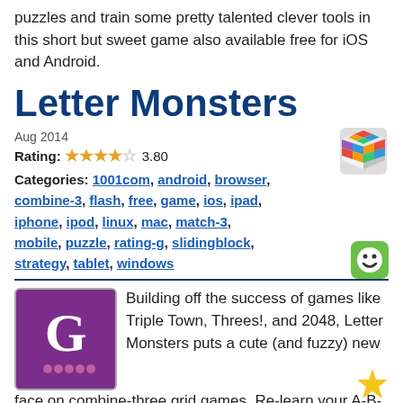puzzles and train some pretty talented clever tools in this short but sweet game also available free for iOS and Android.
Letter Monsters
Aug 2014
Rating: 3.80
Categories: 1001com, android, browser, combine-3, flash, free, game, ios, ipad, iphone, ipod, linux, mac, match-3, mobile, puzzle, rating-g, slidingblock, strategy, tablet, windows
Building off the success of games like Triple Town, Threes!, and 2048, Letter Monsters puts a cute (and fuzzy) new face on combine-three grid games. Re-learn your A-B-C's across over sixty levels of strategic sliding, and use eight unique boosters to help yourself out on iOS, Android, and in your browser!
Ice Cream Nomsters
Aug 2014